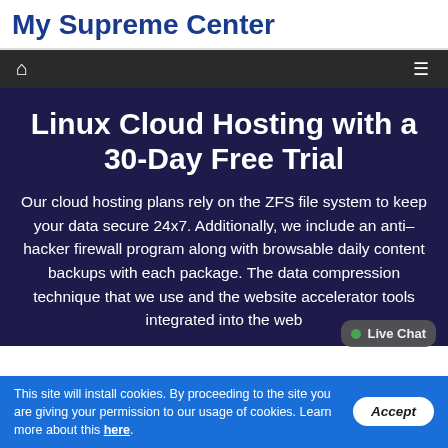My Supreme Center
Linux Cloud Hosting with a 30-Day Free Trial
Our cloud hosting plans rely on the ZFS file system to keep your data secure 24x7. Additionally, we include an anti–hacker firewall program along with browsable daily content backups with each package. The data compression technique that we use and the website accelerator tools integrated into the web
This site will install cookies. By proceeding to the site you are giving your permission to our usage of cookies. Learn more about this here.